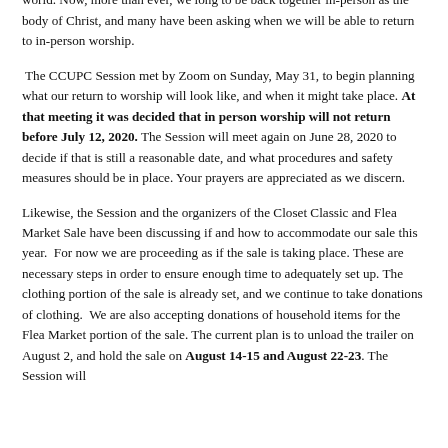of racism, and the realities of violence that are plaguing our city, nation, and world. Now, more than ever, we long to be back together in-person as the body of Christ, and many have been asking when we will be able to return to in-person worship.
The CCUPC Session met by Zoom on Sunday, May 31, to begin planning what our return to worship will look like, and when it might take place. At that meeting it was decided that in person worship will not return before July 12, 2020. The Session will meet again on June 28, 2020 to decide if that is still a reasonable date, and what procedures and safety measures should be in place. Your prayers are appreciated as we discern.
Likewise, the Session and the organizers of the Closet Classic and Flea Market Sale have been discussing if and how to accommodate our sale this year. For now we are proceeding as if the sale is taking place. These are necessary steps in order to ensure enough time to adequately set up. The clothing portion of the sale is already set, and we continue to take donations of clothing. We are also accepting donations of household items for the Flea Market portion of the sale. The current plan is to unload the trailer on August 2, and hold the sale on August 14-15 and August 22-23. The Session will